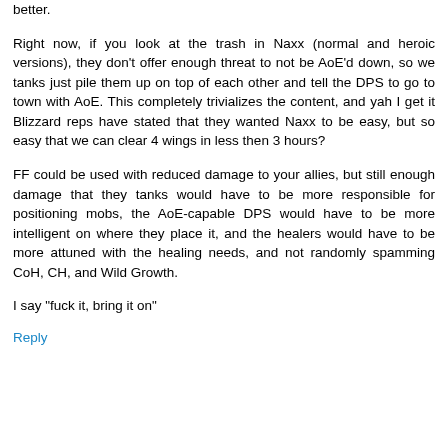better.
Right now, if you look at the trash in Naxx (normal and heroic versions), they don't offer enough threat to not be AoE'd down, so we tanks just pile them up on top of each other and tell the DPS to go to town with AoE. This completely trivializes the content, and yah I get it Blizzard reps have stated that they wanted Naxx to be easy, but so easy that we can clear 4 wings in less then 3 hours?
FF could be used with reduced damage to your allies, but still enough damage that they tanks would have to be more responsible for positioning mobs, the AoE-capable DPS would have to be more intelligent on where they place it, and the healers would have to be more attuned with the healing needs, and not randomly spamming CoH, CH, and Wild Growth.
I say "fuck it, bring it on"
Reply